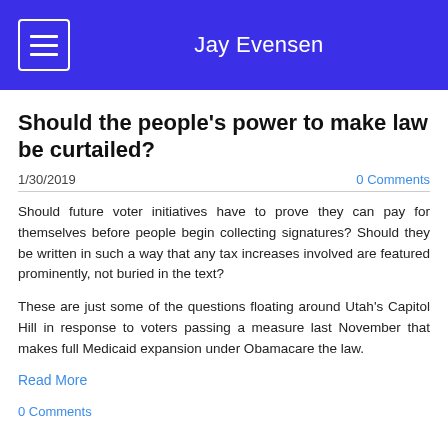Jay Evensen
Should the people's power to make law be curtailed?
1/30/2019
0 Comments
Should future voter initiatives have to prove they can pay for themselves before people begin collecting signatures? Should they be written in such a way that any tax increases involved are featured prominently, not buried in the text?
These are just some of the questions floating around Utah's Capitol Hill in response to voters passing a measure last November that makes full Medicaid expansion under Obamacare the law.
Read More
0 Comments